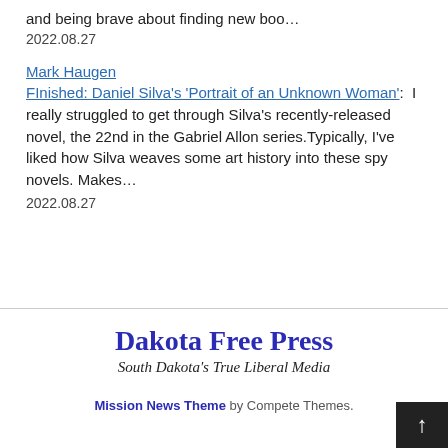and being brave about finding new boo…
2022.08.27
Mark Haugen
FInished: Daniel Silva's 'Portrait of an Unknown Woman':  I really struggled to get through Silva's recently-released novel, the 22nd in the Gabriel Allon series.Typically, I've liked how Silva weaves some art history into these spy novels. Makes…
2022.08.27
Dakota Free Press
South Dakota's True Liberal Media
Mission News Theme by Compete Themes.